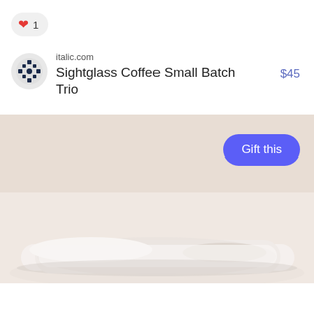[Figure (other): Like button with heart icon and count of 1]
italic.com
Sightglass Coffee Small Batch Trio
$45
[Figure (photo): Product photo of a white ceramic tray/dish set on a beige background with a 'Gift this' button overlay]